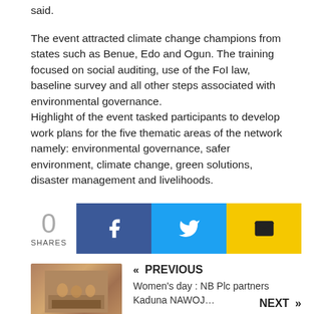said.
The event attracted climate change champions from states such as Benue, Edo and Ogun. The training focused on social auditing, use of the FoI law, baseline survey and all other steps associated with environmental governance.
Highlight of the event tasked participants to develop work plans for the five thematic areas of the network namely: environmental governance, safer environment, climate change, green solutions, disaster management and livelihoods.
[Figure (other): Green WhatsApp Share button]
[Figure (other): Social sharing bar showing 0 SHARES, Facebook button, Twitter button, Email button]
[Figure (photo): Thumbnail image of group of people at a meeting/event]
« PREVIOUS
Women's day : NB Plc partners Kaduna NAWOJ...
NEXT »